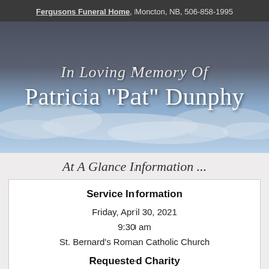Fergusons Funeral Home, Moncton, NB, 506-858-1995
In Loving Memory Of Patricia "Pat" Dunphy
[Figure (illustration): Sky with clouds background behind the memorial header text]
At A Glance Information ...
Service Information
Friday, April 30, 2021
9:30 am
St. Bernard's Roman Catholic Church
Requested Charity